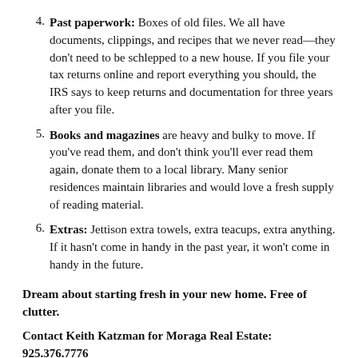4. Past paperwork: Boxes of old files. We all have documents, clippings, and recipes that we never read—they don't need to be schlepped to a new house. If you file your tax returns online and report everything you should, the IRS says to keep returns and documentation for three years after you file.
5. Books and magazines are heavy and bulky to move. If you've read them, and don't think you'll ever read them again, donate them to a local library. Many senior residences maintain libraries and would love a fresh supply of reading material.
6. Extras: Jettison extra towels, extra teacups, extra anything. If it hasn't come in handy in the past year, it won't come in handy in the future.
Dream about starting fresh in your new home. Free of clutter.
Contact Keith Katzman for Moraga Real Estate: 925.376.7776